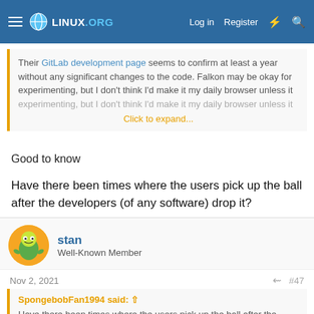LINUX.ORG — Log in | Register
Their GitLab development page seems to confirm at least a year without any significant changes to the code. Falkon may be okay for experimenting, but I don't think I'd make it my daily browser unless it
Click to expand...
Good to know

Have there been times where the users pick up the ball after the developers (of any software) drop it?
stan
Well-Known Member
Nov 2, 2021	#47
SpongebobFan1994 said:
Have there been times where the users pick up the ball after the developers (of any software) drop it?